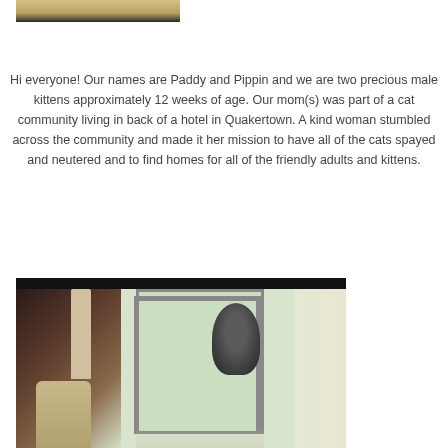[Figure (photo): Top portion of a photo showing a textured woven surface (cat scratcher or similar) with a dark edge visible at bottom]
Hi everyone!  Our names are Paddy and Pippin and we are two precious male kittens approximately 12 weeks of age. Our mom(s) was part of a cat community living in back of a hotel in Quakertown.  A kind woman stumbled across the community and made it her mission to have all of the cats spayed and neutered and to find homes for all of the friendly adults and kittens.
[Figure (photo): Photo of cats in an indoor setting with a window showing green trees outside, a wooden chair visible at bottom left, and a dark cat visible near the window]